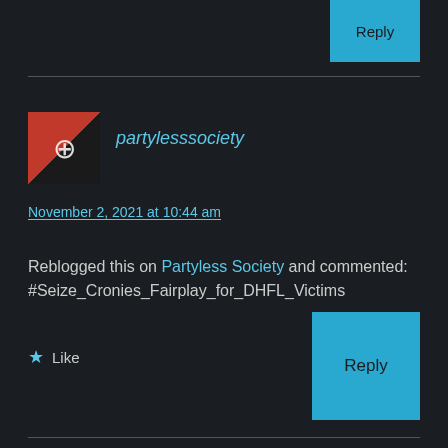[Figure (other): Reply button (top right), cyan background]
[Figure (photo): User avatar thumbnail: red and black image with anarchy symbol]
partylesssociety
November 2, 2021 at 10:44 am
Reblogged this on Partyless Society and commented: #Seize_Cronies_Fairplay_for_DHFL_Victims
Like
[Figure (other): Reply button (bottom right), cyan background]